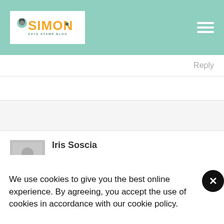Simon Says Stamp Blog
Reply
Iris Soscia
We use cookies to give you the best online experience. By agreeing, you accept the use of cookies in accordance with our cookie policy.
DECLINE
I ACCEPT
Privacy Policy   Cookie Policy
Thanks for this idea and putting it to practice. Love seeing all the creations by these wonderful